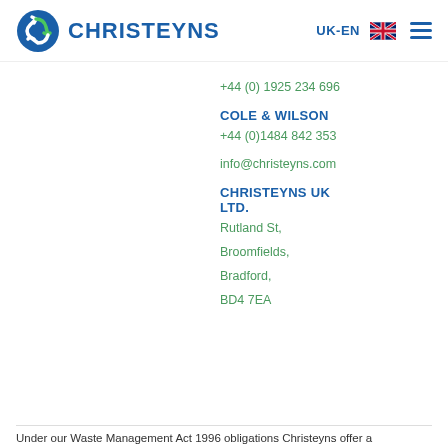[Figure (logo): Christeyns logo with blue/green circular recycling icon and blue CHRISTEYNS text]
UK-EN
+44 (0) 1925 234 696
COLE & WILSON
+44 (0)1484 842 353
info@christeyns.com
CHRISTEYNS UK LTD.
Rutland St,
Broomfields,
Bradford,
BD4 7EA
Under our Waste Management Act 1996 obligations Christeyns offer a